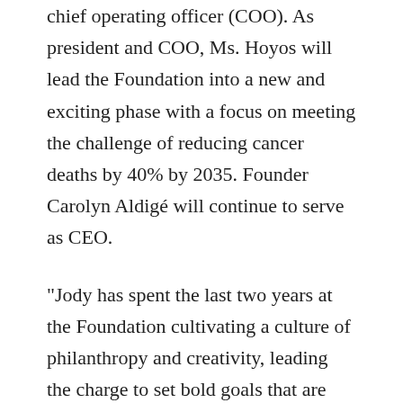chief operating officer (COO). As president and COO, Ms. Hoyos will lead the Foundation into a new and exciting phase with a focus on meeting the challenge of reducing cancer deaths by 40% by 2035. Founder Carolyn Aldigé will continue to serve as CEO.
“Jody has spent the last two years at the Foundation cultivating a culture of philanthropy and creativity, leading the charge to set bold goals that are guiding the Foundation’s work. The decision to name her as president and COO was an easy one,” Aldigé said. “In December we celebrated 35 years of progress in cancer prevention and early detection, and I am delighted to have Jody join me at the helm of our organization